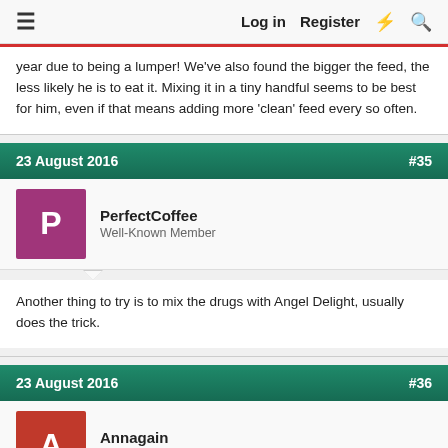≡  Log in  Register  ⚡  🔍
year due to being a lumper! We've also found the bigger the feed, the less likely he is to eat it. Mixing it in a tiny handful seems to be best for him, even if that means adding more 'clean' feed every so often.
23 August 2016  #35
PerfectCoffee
Well-Known Member
Another thing to try is to mix the drugs with Angel Delight, usually does the trick.
23 August 2016  #36
Annagain
Well-Known Member